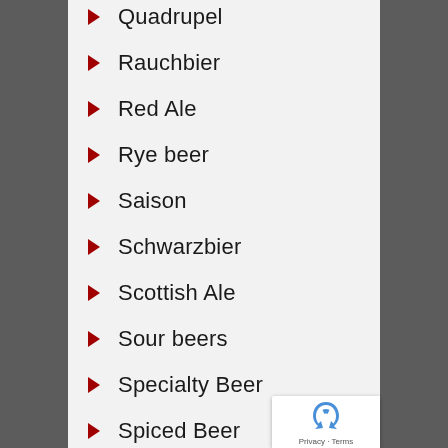Quadrupel
Rauchbier
Red Ale
Rye beer
Saison
Schwarzbier
Scottish Ale
Sour beers
Specialty Beer
Spiced Beer